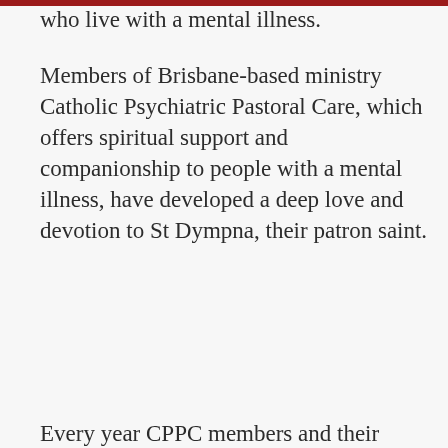who live with a mental illness.
Members of Brisbane-based ministry Catholic Psychiatric Pastoral Care, which offers spiritual support and companionship to people with a mental illness, have developed a deep love and devotion to St Dympna, their patron saint.
Every year CPPC members and their families
This website stores cookies on your computer. These cookies are used to improve your website experience and provide more personalized services to you, both on this website and through other media. To find out more about the cookies we use, see our Privacy Policy.

If you decline, your information won't be tracked when you visit this website. A single cookie will be used in your browser to remember your preference not to be tracked.